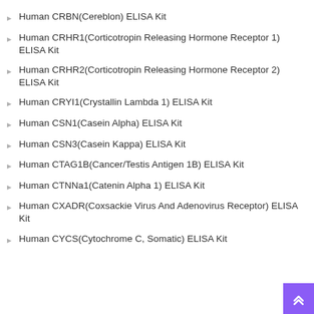Human CRBN(Cereblon) ELISA Kit
Human CRHR1(Corticotropin Releasing Hormone Receptor 1) ELISA Kit
Human CRHR2(Corticotropin Releasing Hormone Receptor 2) ELISA Kit
Human CRYL1(Crystallin Lambda 1) ELISA Kit
Human CSN1(Casein Alpha) ELISA Kit
Human CSN3(Casein Kappa) ELISA Kit
Human CTAG1B(Cancer/Testis Antigen 1B) ELISA Kit
Human CTNNa1(Catenin Alpha 1) ELISA Kit
Human CXADR(Coxsackie Virus And Adenovirus Receptor) ELISA Kit
Human CYCS(Cytochrome C, Somatic) ELISA Kit